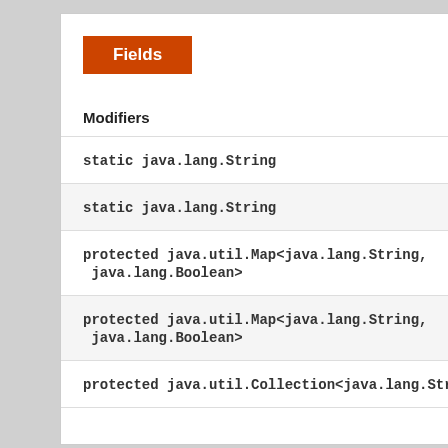Fields
| Modifiers |  |
| --- | --- |
| static java.lang.String |  |
| static java.lang.String |  |
| protected java.util.Map<java.lang.String, java.lang.Boolean> |  |
| protected java.util.Map<java.lang.String, java.lang.Boolean> |  |
| protected java.util.Collection<java.lang.Stri… |  |